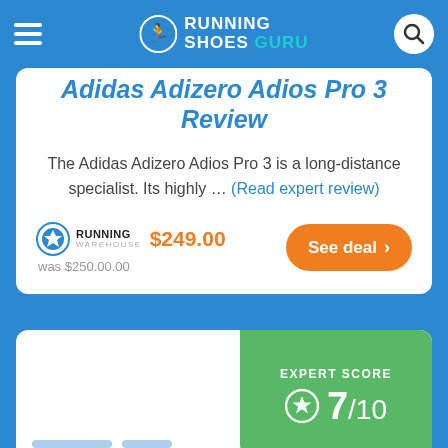Running Shoes Guru
Adidas Adizero Adios Pro 3 Review
The Adidas Adizero Adios Pro 3 is a long-distance specialist. Its highly ... (Read expert review)
$249.00
was $250.00.00
See deal
[Figure (infographic): Expert Score badge showing 7/10 with star icon on green background]